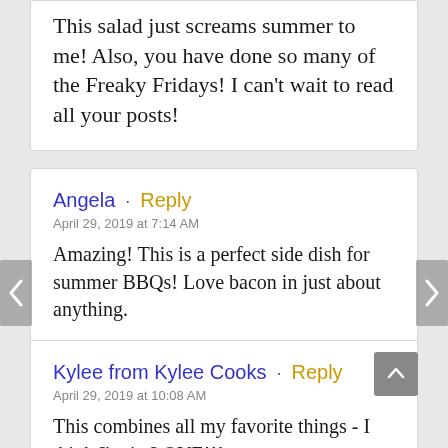This salad just screams summer to me! Also, you have done so many of the Freaky Fridays! I can't wait to read all your posts!
Angela · Reply
April 29, 2019 at 7:14 AM
Amazing! This is a perfect side dish for summer BBQs! Love bacon in just about anything.
Kylee from Kylee Cooks · Reply
April 29, 2019 at 10:08 AM
This combines all my favorite things - I think I'm in LOVE!!!